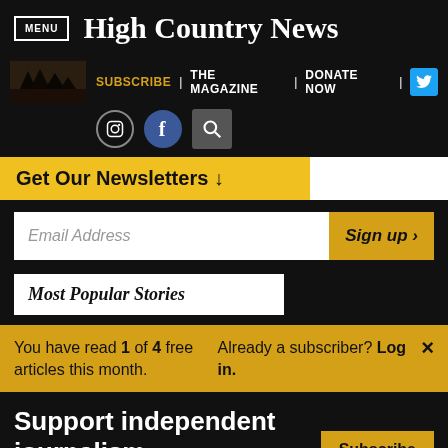MENU | High Country News
SUBSCRIBE | THE MAGAZINE | DONATE NOW
Get Our Newsletters ↓
Email Address  Sign up ›
Most Popular Stories
You have read 1 of 4 free articles this month.
Already a subscriber? Log in.
Support independent journalism.  Subscribe